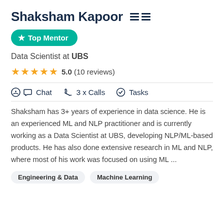Shaksham Kapoor
Top Mentor
Data Scientist at UBS
5.0 (10 reviews)
Chat  3 x Calls  Tasks
Shaksham has 3+ years of experience in data science. He is an experienced ML and NLP practitioner and is currently working as a Data Scientist at UBS, developing NLP/ML-based products. He has also done extensive research in ML and NLP, where most of his work was focused on using ML ...
Engineering & Data
Machine Learning